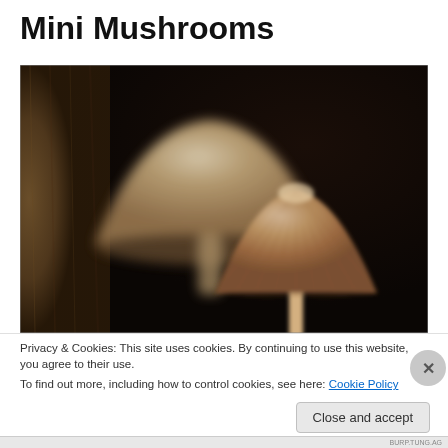Mini Mushrooms
[Figure (photo): Close-up macro photograph of two small mushrooms against a dark background. The foreground mushroom is in focus showing a brown ribbed cap, the background mushroom is larger and blurred.]
Privacy & Cookies: This site uses cookies. By continuing to use this website, you agree to their use.
To find out more, including how to control cookies, see here: Cookie Policy
Close and accept